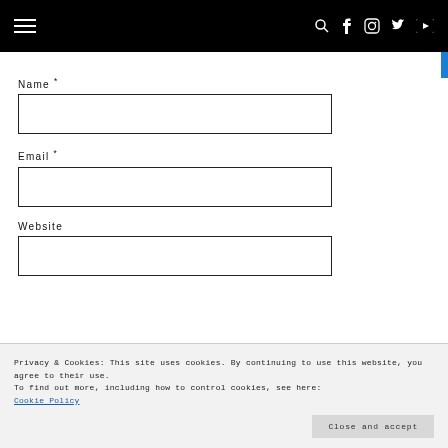Navigation bar with hamburger menu and social icons (search, facebook, instagram, twitter, youtube)
Name *
[Figure (other): Empty text input field for Name]
Email *
[Figure (other): Empty text input field for Email]
Website
[Figure (other): Empty text input field for Website]
Privacy & Cookies: This site uses cookies. By continuing to use this website, you agree to their use. To find out more, including how to control cookies, see here: Cookie Policy
Close and accept